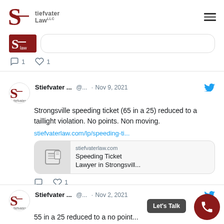[Figure (logo): Stiefvater Law LLC logo with stylized S]
[Figure (screenshot): Partial tweet with reply and like counts (1 each)]
[Figure (screenshot): Tweet from Stiefvater Law @... Nov 9, 2021 - Strongsville speeding ticket (65 in a 25) reduced to a taillight violation. No points. Non moving. stiefvaterlaw.com/lp/speeding-ti... with link preview for Speeding Ticket Lawyer in Strongsvill... and like count of 1]
[Figure (screenshot): Partial tweet from Stiefvater Law @... Nov 2, 2021 - 55 in a 25 reduced to a no point...]
Let's Talk